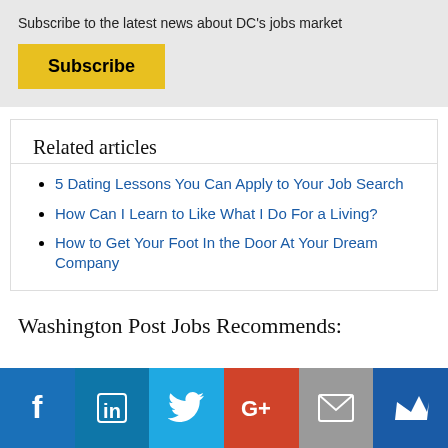Subscribe to the latest news about DC's jobs market
Subscribe
Related articles
5 Dating Lessons You Can Apply to Your Job Search
How Can I Learn to Like What I Do For a Living?
How to Get Your Foot In the Door At Your Dream Company
Washington Post Jobs Recommends:
[Figure (infographic): Social media sharing bar with icons for Facebook, LinkedIn, Twitter, Google+, Email, and Crown/Feedly]